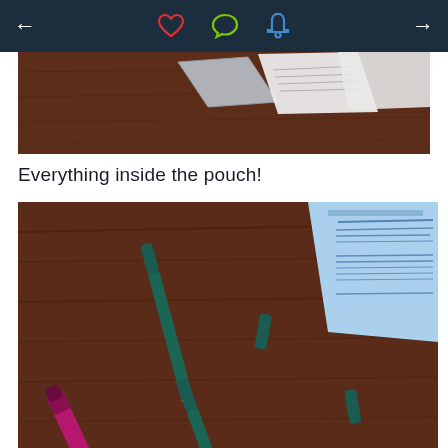Navigation bar with back arrow, heart icon, chat icon, bell icon, forward arrow
[Figure (photo): Photo of items on a dark wooden desk surface, showing papers and packaging partially visible from above]
Everything inside the pouch!
[Figure (photo): Photo of makeup items on a dark wooden desk: a magenta/pink lip liner or lipstick, two teal/dark green eye liner pencils with caps removed, and a blue card/booklet with text. Items are scattered on the wooden surface.]